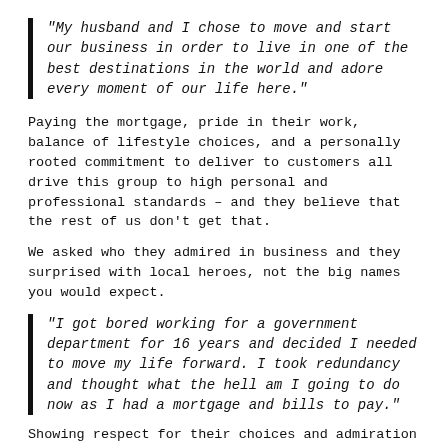"My husband and I chose to move and start our business in order to live in one of the best destinations in the world and adore every moment of our life here."
Paying the mortgage, pride in their work, balance of lifestyle choices, and a personally rooted commitment to deliver to customers all drive this group to high personal and professional standards – and they believe that the rest of us don't get that.
We asked who they admired in business and they surprised with local heroes, not the big names you would expect.
"I got bored working for a government department for 16 years and decided I needed to move my life forward. I took redundancy and thought what the hell am I going to do now as I had a mortgage and bills to pay."
Showing respect for their choices and admiration for their output, despite the fact that they never set themselves up to be business barons, is a good way to frame the way you